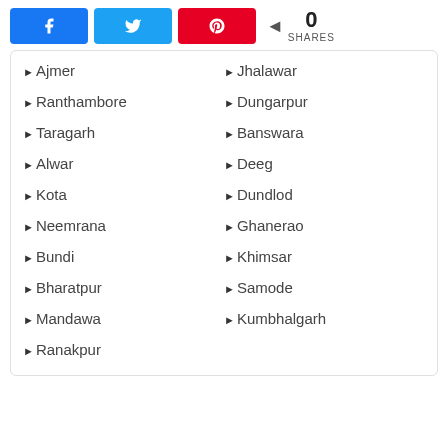[Figure (other): Social share buttons: Facebook (blue), Twitter (light blue), Pinterest (red), and a share count showing 0 SHARES]
►Ajmer
►Jhalawar
►Ranthambore
►Dungarpur
►Taragarh
►Banswara
►Alwar
►Deeg
►Kota
►Dundlod
►Neemrana
►Ghanerao
►Bundi
►Khimsar
►Bharatpur
►Samode
►Mandawa
►Kumbhalgarh
►Ranakpur